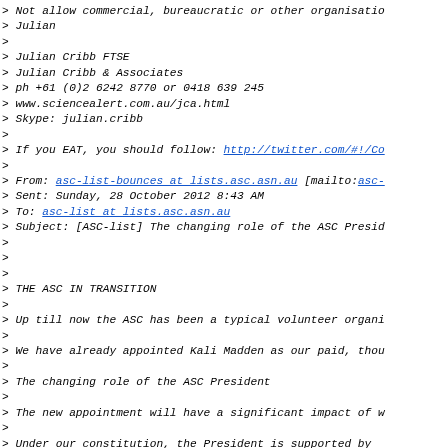> Not allow commercial, bureaucratic or other organisatio
> Julian
>
> Julian Cribb FTSE
> Julian Cribb & Associates
> ph +61 (0)2 6242 8770 or 0418 639 245
> www.sciencealert.com.au/jca.html
> Skype: julian.cribb
>
> If you EAT, you should follow: http://twitter.com/#!/Co
>
> From: asc-list-bounces at lists.asc.asn.au [mailto:asc-
> Sent: Sunday, 28 October 2012 8:43 AM
> To: asc-list at lists.asc.asn.au
> Subject: [ASC-list] The changing role of the ASC Presid
>
>
>
> THE ASC IN TRANSITION
>
> Up till now the ASC has been a typical volunteer organi
>
> We have already appointed Kali Madden as our paid, thou
>
> The changing role of the ASC President
>
> The new appointment will have a significant impact of w
>
> Under  our constitution, the President is supported by
>